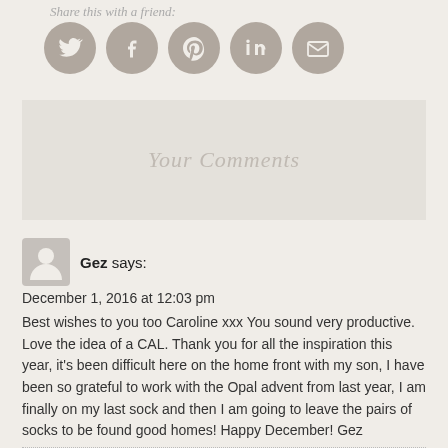Share this with a friend:
[Figure (illustration): Five circular social media sharing buttons: Twitter, Facebook, Pinterest, LinkedIn, Email]
Your Comments
[Figure (illustration): User avatar placeholder icon (grey silhouette of a person)]
Gez says:
December 1, 2016 at 12:03 pm
Best wishes to you too Caroline xxx You sound very productive. Love the idea of a CAL. Thank you for all the inspiration this year, it's been difficult here on the home front with my son, I have been so grateful to work with the Opal advent from last year, I am finally on my last sock and then I am going to leave the pairs of socks to be found good homes! Happy December! Gez
Reply